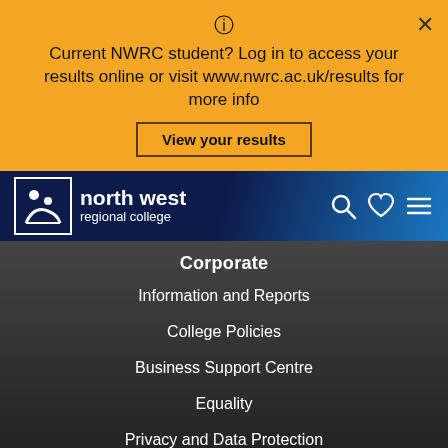Current NWRC student? Log in to access your results online or visit www.nwrc.ac.uk/results for more info
View your results
[Figure (logo): North West Regional College logo with white icon on dark navy background]
Corporate
Information and Reports
College Policies
Business Support Centre
Equality
Privacy and Data Protection
Freedom of Information